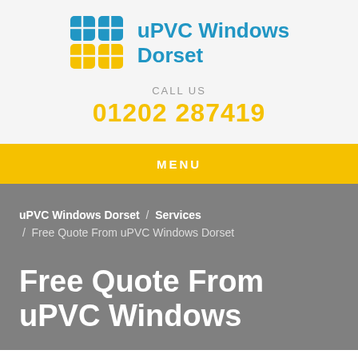[Figure (logo): uPVC Windows Dorset logo with blue and yellow window grid icon and blue brand text]
CALL US
01202 287419
MENU
uPVC Windows Dorset / Services / Free Quote From uPVC Windows Dorset
Free Quote From uPVC Windows